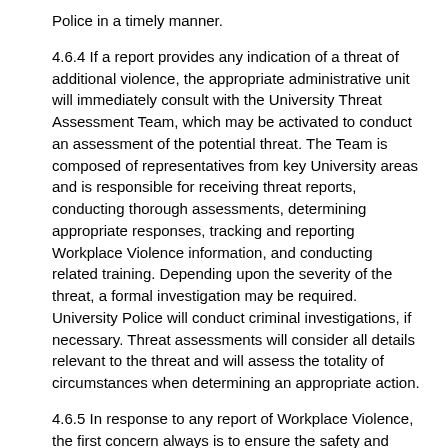Police in a timely manner.
4.6.4 If a report provides any indication of a threat of additional violence, the appropriate administrative unit will immediately consult with the University Threat Assessment Team, which may be activated to conduct an assessment of the potential threat. The Team is composed of representatives from key University areas and is responsible for receiving threat reports, conducting thorough assessments, determining appropriate responses, tracking and reporting Workplace Violence information, and conducting related training. Depending upon the severity of the threat, a formal investigation may be required. University Police will conduct criminal investigations, if necessary. Threat assessments will consider all details relevant to the threat and will assess the totality of circumstances when determining an appropriate action.
4.6.5 In response to any report of Workplace Violence, the first concern always is to ensure the safety and support of victims. The University will make efforts to protect victims through appropriate and reasonable security measures, as necessary. Victims may also need special